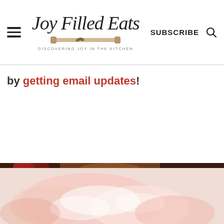Joy Filled Eats — DISCOVERING JOY IN THE KITCHEN — SUBSCRIBE
by getting email updates!
[Figure (photo): Food photo showing baked goods and desserts at the bottom of the page]